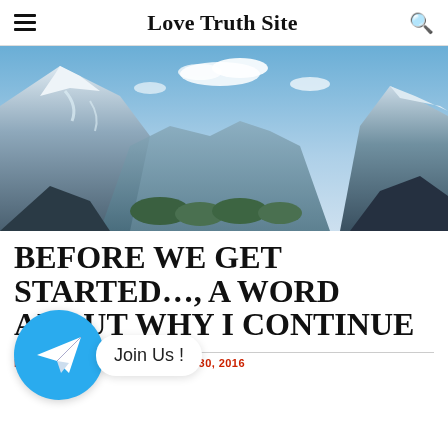Love Truth Site
[Figure (photo): Panoramic mountain landscape with snow-capped peaks, blue sky with clouds, and a valley with trees below]
BEFORE WE GET STARTED…, A WORD ABOUT WHY I CONTINUE
[Figure (other): Telegram app icon circle with paper plane, and a 'Join Us!' speech bubble]
BRADLEY LOVES YOU · MARCH 30, 2016